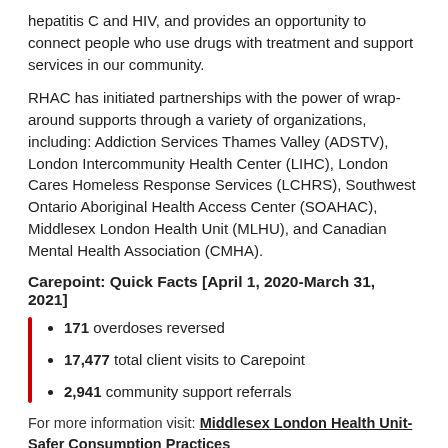hepatitis C and HIV, and provides an opportunity to connect people who use drugs with treatment and support services in our community.
RHAC has initiated partnerships with the power of wrap-around supports through a variety of organizations, including: Addiction Services Thames Valley (ADSTV), London Intercommunity Health Center (LIHC), London Cares Homeless Response Services (LCHRS), Southwest Ontario Aboriginal Health Access Center (SOAHAC), Middlesex London Health Unit (MLHU), and Canadian Mental Health Association (CMHA).
Carepoint: Quick Facts [April 1, 2020-March 31, 2021]
171 overdoses reversed
17,477 total client visits to Carepoint
2,941 community support referrals
For more information visit: Middlesex London Health Unit-Safer Consumption Practices